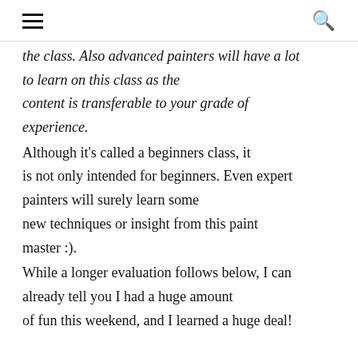the class. Also advanced painters will have a lot to learn on this class as the content is transferable to your grade of experience.
Although it's called a beginners class, it is not only intended for beginners. Even expert painters will surely learn some new techniques or insight from this paint master :).
While a longer evaluation follows below, I can already tell you I had a huge amount of fun this weekend, and I learned a huge deal!
Event